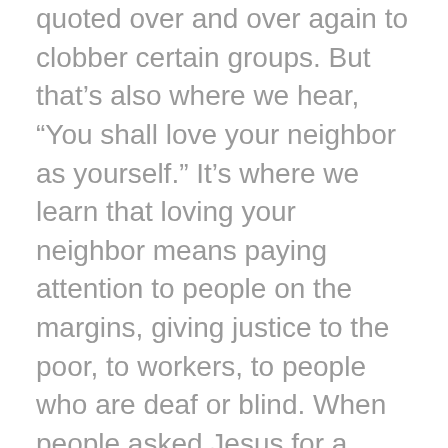quoted over and over again to clobber certain groups. But that's also where we hear, “You shall love your neighbor as yourself.” It’s where we learn that loving your neighbor means paying attention to people on the margins, giving justice to the poor, to workers, to people who are deaf or blind. When people asked Jesus for a commandment that summed up all the others, he tacked this familiar verse on as “Part-B” of his answer: A: Love God with yourself; B: love your neighbor as yourself. Love one another / love your neighbor as yourself. It’s the